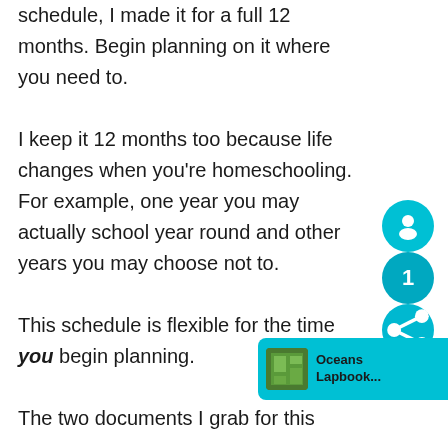schedule, I made it for a full 12 months. Begin planning on it where you need to.

I keep it 12 months too because life changes when you're homeschooling. For example, one year you may actually school year round and other years you may choose not to.

This schedule is flexible for the time you begin planning.

The two documents I grab for this
[Figure (infographic): Teal/cyan social sharing button with person icon, number 1 badge, and share icon stacked vertically on the right side]
[Figure (infographic): Promo bar at bottom right with green lapbook image thumbnail and text 'Oceans Lapbook...']